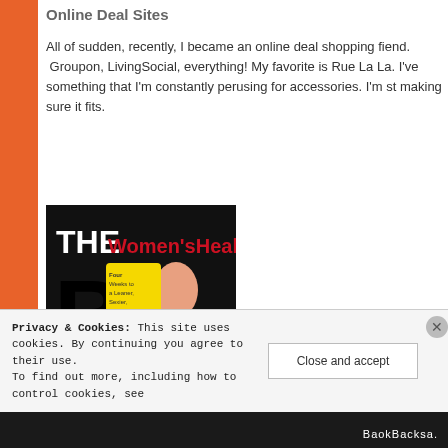Online Deal Sites
All of sudden, recently, I became an online deal shopping fiend. Groupon, LivingSocial, everything! My favorite is Rue La La. I've something that I'm constantly perusing for accessories. I'm st making sure it fits.
[Figure (photo): The Women's Health Big Book cover showing a woman in fitness attire]
Privacy & Cookies: This site uses cookies. By continuing you agree to their use. To find out more, including how to control cookies, see
Close and accept